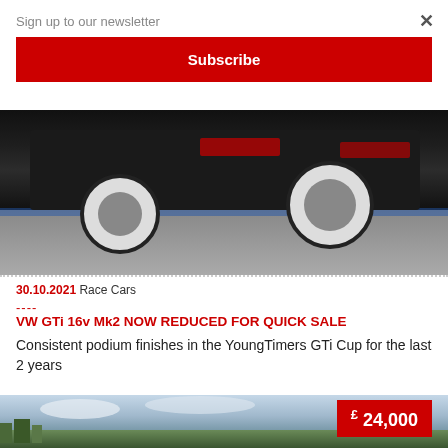Sign up to our newsletter
Subscribe
×
[Figure (photo): Close-up of a black racing car on a race track, showing rear bumper and wheels with blue track markings visible]
30.10.2021 Race Cars
----
VW GTi 16v Mk2 NOW REDUCED FOR QUICK SALE
Consistent podium finishes in the YoungTimers GTi Cup for the last 2 years
[Figure (photo): Photo of a car (partially visible) with a £24,000 price tag in the bottom right corner, green trees and cloudy sky in background]
£ 24,000